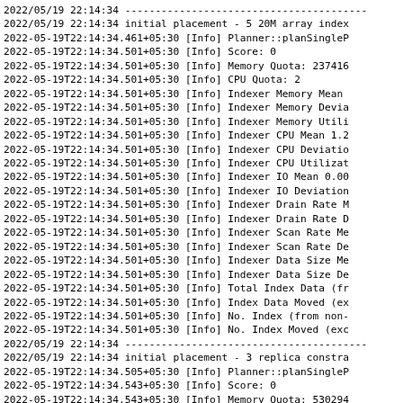2022/05/19 22:14:34 ----------------------------------------
2022/05/19 22:14:34 initial placement - 5 20M array index
2022-05-19T22:14:34.461+05:30 [Info] Planner::planSingleP
2022-05-19T22:14:34.501+05:30 [Info] Score: 0
2022-05-19T22:14:34.501+05:30 [Info] Memory Quota: 237416
2022-05-19T22:14:34.501+05:30 [Info] CPU Quota: 2
2022-05-19T22:14:34.501+05:30 [Info] Indexer Memory Mean
2022-05-19T22:14:34.501+05:30 [Info] Indexer Memory Devia
2022-05-19T22:14:34.501+05:30 [Info] Indexer Memory Utili
2022-05-19T22:14:34.501+05:30 [Info] Indexer CPU Mean 1.2
2022-05-19T22:14:34.501+05:30 [Info] Indexer CPU Deviatio
2022-05-19T22:14:34.501+05:30 [Info] Indexer CPU Utilizat
2022-05-19T22:14:34.501+05:30 [Info] Indexer IO Mean 0.00
2022-05-19T22:14:34.501+05:30 [Info] Indexer IO Deviation
2022-05-19T22:14:34.501+05:30 [Info] Indexer Drain Rate M
2022-05-19T22:14:34.501+05:30 [Info] Indexer Drain Rate D
2022-05-19T22:14:34.501+05:30 [Info] Indexer Scan Rate Me
2022-05-19T22:14:34.501+05:30 [Info] Indexer Scan Rate De
2022-05-19T22:14:34.501+05:30 [Info] Indexer Data Size Me
2022-05-19T22:14:34.501+05:30 [Info] Indexer Data Size De
2022-05-19T22:14:34.501+05:30 [Info] Total Index Data (fr
2022-05-19T22:14:34.501+05:30 [Info] Index Data Moved (ex
2022-05-19T22:14:34.501+05:30 [Info] No. Index (from non-
2022-05-19T22:14:34.501+05:30 [Info] No. Index Moved (exc
2022/05/19 22:14:34 ----------------------------------------
2022/05/19 22:14:34 initial placement - 3 replica constra
2022-05-19T22:14:34.505+05:30 [Info] Planner::planSingleP
2022-05-19T22:14:34.543+05:30 [Info] Score: 0
2022-05-19T22:14:34.543+05:30 [Info] Memory Quota: 530294
2022-05-19T22:14:34.543+05:30 [Info] CPU Quota: 2